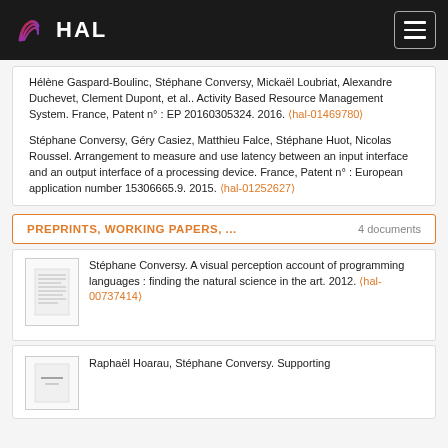HAL
Hélène Gaspard-Boulinc, Stéphane Conversy, Mickaël Loubriat, Alexandre Duchevet, Clement Dupont, et al.. Activity Based Resource Management System. France, Patent n° : EP 20160305324. 2016. ⟨hal-01469780⟩
Stéphane Conversy, Géry Casiez, Matthieu Falce, Stéphane Huot, Nicolas Roussel. Arrangement to measure and use latency between an input interface and an output interface of a processing device. France, Patent n° : European application number 15306665.9. 2015. ⟨hal-01252627⟩
PREPRINTS, WORKING PAPERS, ...
4 documents
Stéphane Conversy. A visual perception account of programming languages : finding the natural science in the art. 2012. ⟨hal-00737414⟩
Raphaël Hoarau, Stéphane Conversy. Supporting